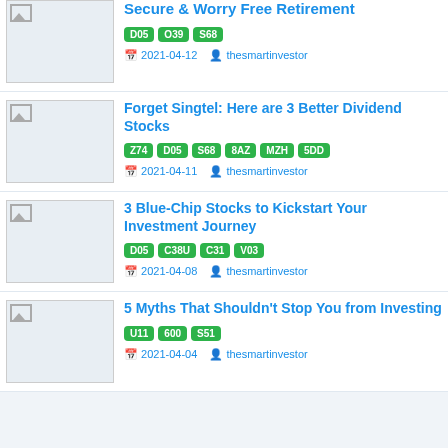Secure & Worry Free Retirement — tags: D05, O39, S68 — 2021-04-12 — thesmartinvestor
Forget Singtel: Here are 3 Better Dividend Stocks — tags: Z74, D05, S68, 8AZ, MZH, 5DD — 2021-04-11 — thesmartinvestor
3 Blue-Chip Stocks to Kickstart Your Investment Journey — tags: D05, C38U, C31, V03 — 2021-04-08 — thesmartinvestor
5 Myths That Shouldn't Stop You from Investing — tags: U11, 600, S51 — 2021-04-04 — thesmartinvestor